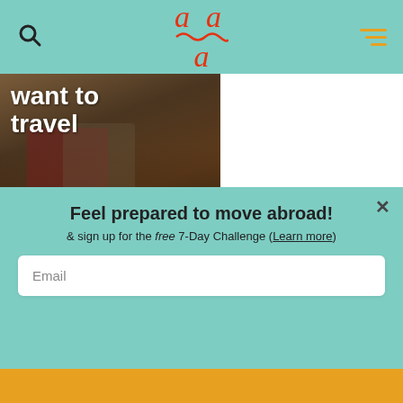Navigation bar with search icon, awa logo, and menu icon
[Figure (photo): Couple with arms around each other viewed from behind in nature, with bold white text 'want to travel' and a teal banner reading 'BUT I DO!']
[Figure (photo): Coastal city aerial view with orange text label 'AN INSIDER LOOK']
Feel prepared to move abroad!
& sign up for the free 7-Day Challenge (Learn more)
Email